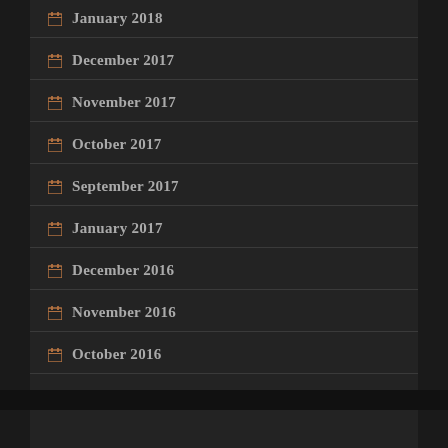January 2018
December 2017
November 2017
October 2017
September 2017
January 2017
December 2016
November 2016
October 2016